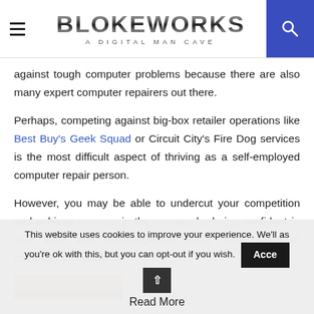BLOKEWORKS - A DIGITAL MAN CAVE
against tough computer problems because there are also many expert computer repairers out there.
Perhaps, competing against big-box retailer operations like Best Buy's Geek Squad or Circuit City's Fire Dog services is the most difficult aspect of thriving as a self-employed computer repair person.
However, you may be able to undercut your competition and achieve success in the process by being confident in your work and knowledgeable about many types of computer problems.
[Figure (photo): Partial view of an image at the bottom of the article content area]
This website uses cookies to improve your experience. We'll as you're ok with this, but you can opt-out if you wish. Accept Read More